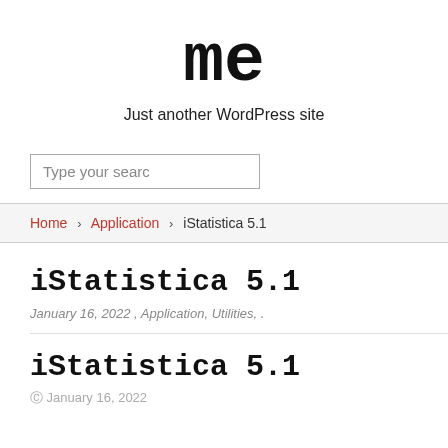me
Just another WordPress site
Type your searc
Home > Application > iStatistica 5.1
iStatistica 5.1
January 16, 2022 , Application, Utilities, .
iStatistica 5.1
© January 16, 2022